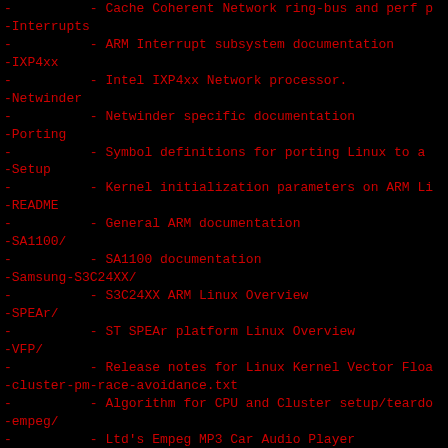-          - Cache Coherent Network ring-bus and perf p
-Interrupts
-          - ARM Interrupt subsystem documentation
-IXP4xx
-          - Intel IXP4xx Network processor.
-Netwinder
-          - Netwinder specific documentation
-Porting
-          - Symbol definitions for porting Linux to a
-Setup
-          - Kernel initialization parameters on ARM Li
-README
-          - General ARM documentation
-SA1100/
-          - SA1100 documentation
-Samsung-S3C24XX/
-          - S3C24XX ARM Linux Overview
-SPEAr/
-          - ST SPEAr platform Linux Overview
-VFP/
-          - Release notes for Linux Kernel Vector Floa
-cluster-pm-race-avoidance.txt
-          - Algorithm for CPU and Cluster setup/teardo
-empeg/
-          - Ltd's Empeg MP3 Car Audio Player
-firmware.txt
-          - Secure firmware registration and calling.
-kernel_mode_neon.txt
-          - How to use NEON instructions in kernel mod
-kernel_user_helpers.txt